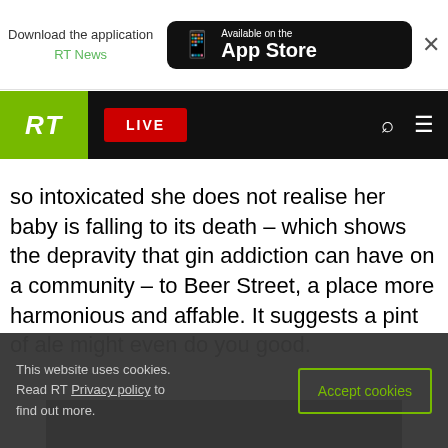Download the application RT News – Available on the App Store
RT LIVE
middle-class fear of the mob is long and
so intoxicated she does not realise her baby is falling to its death – which shows the depravity that gin addiction can have on a community – to Beer Street, a place more harmonious and affable. It suggests a pint of ale might even do you good.
[Figure (screenshot): Black video player area]
This website uses cookies. Read RT Privacy policy to find out more.